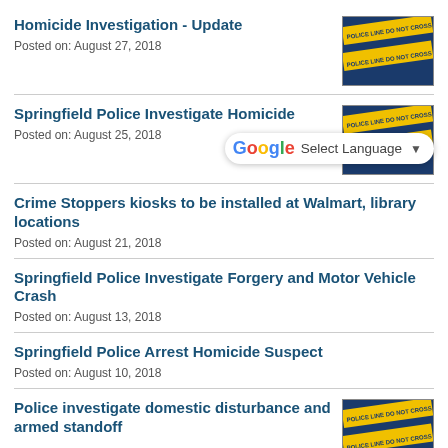Homicide Investigation - Update
Posted on: August 27, 2018
[Figure (photo): Police line do not cross tape]
Springfield Police Investigate Homicide
Posted on: August 25, 2018
[Figure (photo): Police line do not cross tape]
Crime Stoppers kiosks to be installed at Walmart, library locations
Posted on: August 21, 2018
Springfield Police Investigate Forgery and Motor Vehicle Crash
Posted on: August 13, 2018
Springfield Police Arrest Homicide Suspect
Posted on: August 10, 2018
Police investigate domestic disturbance and armed standoff
[Figure (photo): Police line do not cross tape]